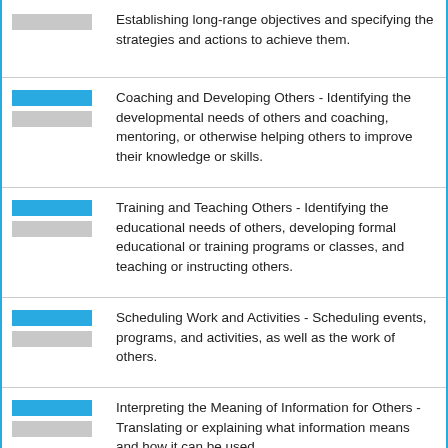Establishing long-range objectives and specifying the strategies and actions to achieve them.
Coaching and Developing Others - Identifying the developmental needs of others and coaching, mentoring, or otherwise helping others to improve their knowledge or skills.
Training and Teaching Others - Identifying the educational needs of others, developing formal educational or training programs or classes, and teaching or instructing others.
Scheduling Work and Activities - Scheduling events, programs, and activities, as well as the work of others.
Interpreting the Meaning of Information for Others - Translating or explaining what information means and how it can be used.